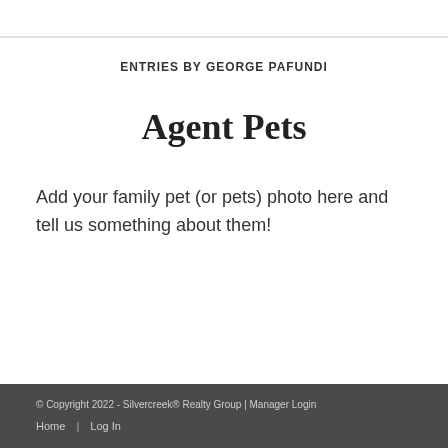ENTRIES BY GEORGE PAFUNDI
Agent Pets
Add your family pet (or pets) photo here and tell us something about them!
© Copyright 2022 - Silvercreek® Realty Group | Manager Login
Home | Log In